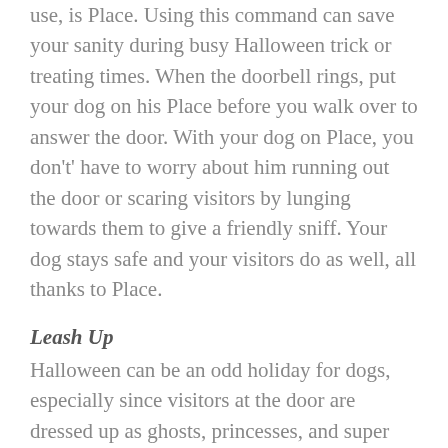use, is Place. Using this command can save your sanity during busy Halloween trick or treating times. When the doorbell rings, put your dog on his Place before you walk over to answer the door. With your dog on Place, you don't' have to worry about him running out the door or scaring visitors by lunging towards them to give a friendly sniff. Your dog stays safe and your visitors do as well, all thanks to Place.
Leash Up
Halloween can be an odd holiday for dogs, especially since visitors at the door are dressed up as ghosts, princesses, and super heroes. Masks and other costume accessories can make your dog confused, worried, or even skittish. To prevent any unsafe behavior, keep your dog on a leash during Halloween trick or treat hours. This extra precaution not only keeps your dog nearby and in your control, being near you can also make your